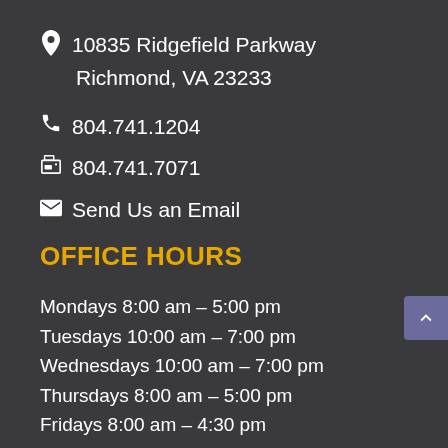10835 Ridgefield Parkway Richmond, VA 23233
804.741.1204
804.741.7071
Send Us an Email
OFFICE HOURS
Mondays 8:00 am – 5:00 pm
Tuesdays 10:00 am – 7:00 pm
Wednesdays 10:00 am – 7:00 pm
Thursdays 8:00 am – 5:00 pm
Fridays 8:00 am – 4:30 pm
To schedule an appointment, call or text 804-741-